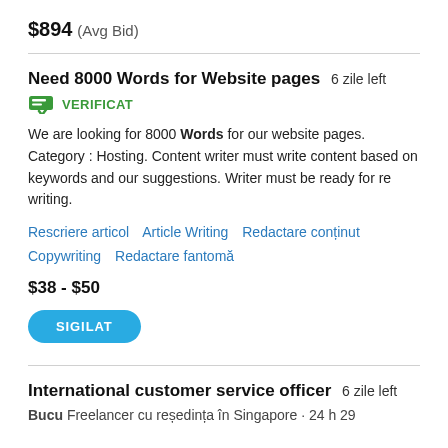$894  (Avg Bid)
Need 8000 Words for Website pages  6 zile left
VERIFICAT
We are looking for 8000 Words for our website pages. Category : Hosting. Content writer must write content based on keywords and our suggestions. Writer must be ready for re writing.
Rescriere articol   Article Writing   Redactare conținut   Copywriting   Redactare fantomă
$38 - $50
SIGILAT
International customer service officer  6 zile left